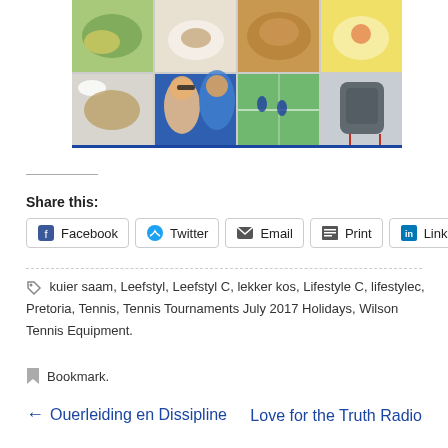[Figure (photo): Photo collage grid showing food dishes and lifestyle images: salad, plated dish, roasted food, bowl with toppings (top row); cup/saucer and food plate, couple selfie wearing sunglasses, tennis court with players, grey backpack (bottom row). Blue border at bottom.]
Share this:
Facebook  Twitter  Email  Print  LinkedIn
kuier saam, Leefstyl, Leefstyl C, lekker kos, Lifestyle C, lifestylec, Pretoria, Tennis, Tennis Tournaments July 2017 Holidays, Wilson Tennis Equipment.
Bookmark.
← Ouerleiding en Dissipline
Love for the Truth Radio